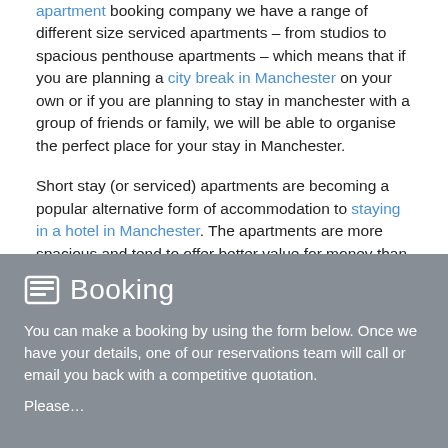apartment booking company we have a range of different size serviced apartments – from studios to spacious penthouse apartments – which means that if you are planning a city break in Manchester on your own or if you are planning to stay in manchester with a group of friends or family, we will be able to organise the perfect place for your stay in Manchester.
Short stay (or serviced) apartments are becoming a popular alternative form of accommodation to staying in a hotel in Manchester. The apartments are more spacious and tend to offer better value for money than the standard box room that a Manchester hotel offers.
Booking
You can make a booking by using the form below. Once we have your details, one of our reservations team will call or email you back with a competitive quotation.
Please …